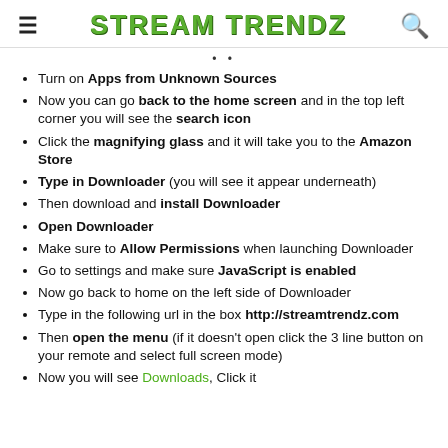STREAM TRENDZ
Turn on Apps from Unknown Sources
Now you can go back to the home screen and in the top left corner you will see the search icon
Click the magnifying glass and it will take you to the Amazon Store
Type in Downloader (you will see it appear underneath)
Then download and install Downloader
Open Downloader
Make sure to Allow Permissions when launching Downloader
Go to settings and make sure JavaScript is enabled
Now go back to home on the left side of Downloader
Type in the following url in the box http://streamtrendz.com
Then open the menu (if it doesn't open click the 3 line button on your remote and select full screen mode)
Now you will see Downloads, Click it